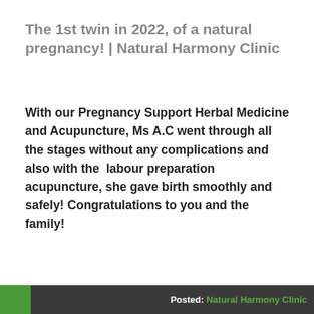The 1st twin in 2022, of a natural pregnancy! | Natural Harmony Clinic
With our Pregnancy Support Herbal Medicine and Acupuncture, Ms A.C went through all the stages without any complications and also with the labour preparation acupuncture, she gave birth smoothly and safely! Congratulations to you and the family!
Posted: Natural Harmony Clinic